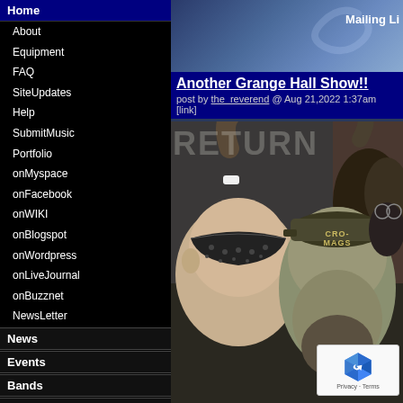Mailing Li
Home
About
Equipment
FAQ
SiteUpdates
Help
SubmitMusic
Portfolio
onMyspace
onFacebook
onWIKI
onBlogspot
onWordpress
onLiveJournal
onBuzznet
NewsLetter
News
Events
Bands
Labels
Venues
Pics
MP3s
Radio Show
Reviews
Releases
Buy$tuff
Forum
Miscellaneous
Links
E-mail
Another Grange Hall Show!!
post by the_reverend @ Aug 21,2022 1:37am  [link]
[Figure (photo): Concert photo showing two men in foreground, one wearing a black bandana headband, another wearing a dark Cro-Mags hat. Crowd visible in background. RETURN text overlay on image.]